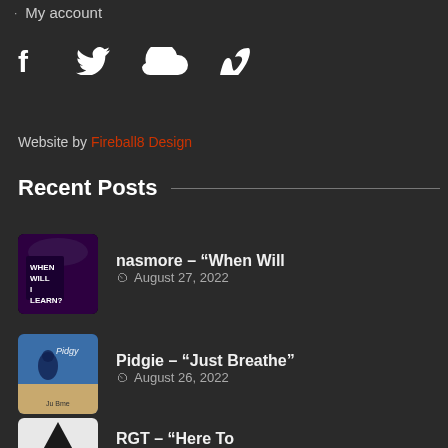My account
[Figure (other): Social media icons: Facebook (f), Twitter bird, SoundCloud cloud, Vimeo V]
Website by Fireball8 Design
Recent Posts
[Figure (photo): Thumbnail image for nasmore When Will I Learn album cover]
nasmore – “When Will
August 27, 2022
[Figure (photo): Thumbnail image for Pidgie Just Breathe single cover]
Pidgie – “Just Breathe”
August 26, 2022
[Figure (photo): Thumbnail image for RGT Here To single cover]
RGT – “Here To
August 25, 2022